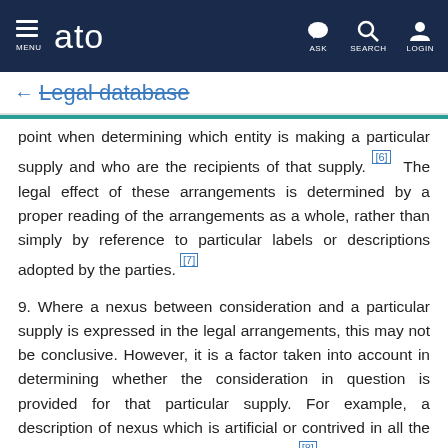MENU | ato | ASK | SEARCH | LOGIN
← Legal database
point when determining which entity is making a particular supply and who are the recipients of that supply. [6] The legal effect of these arrangements is determined by a proper reading of the arrangements as a whole, rather than simply by reference to particular labels or descriptions adopted by the parties. [7]
9. Where a nexus between consideration and a particular supply is expressed in the legal arrangements, this may not be conclusive. However, it is a factor taken into account in determining whether the consideration in question is provided for that particular supply. For example, a description of nexus which is artificial or contrived in all the circumstances will not be determinative. [8] Whether or not this is the case however depends on the facts and circumstances of each situation.